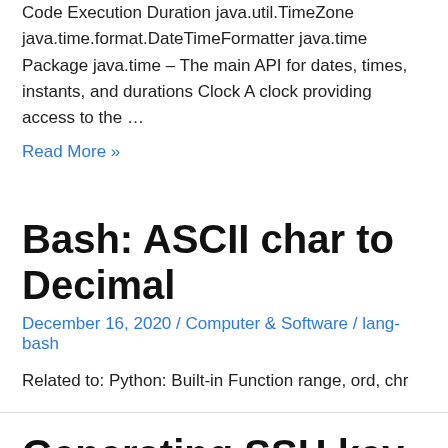Code Execution Duration java.util.TimeZone java.time.format.DateTimeFormatter java.time Package java.time – The main API for dates, times, instants, and durations Clock A clock providing access to the …
Read More »
Bash: ASCII char to Decimal
December 16, 2020 / Computer & Software / lang-bash
Related to: Python: Built-in Function range, ord, chr
Generating SSH key and Using SSH Agent on macOS
December 16, 2020 / Computer & Software / ssh-agent